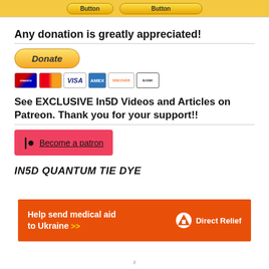[Figure (screenshot): Top banner with yellow PayPal-style buttons]
Any donation is greatly appreciated!
[Figure (screenshot): PayPal Donate button with payment card icons: Maestro, Mastercard, Visa, Amex, Discover, Bank]
See EXCLUSIVE In5D Videos and Articles on Patreon. Thank you for your support!!
[Figure (screenshot): Red Patreon button with P icon and 'Become a patron' link]
IN5D QUANTUM TIE DYE
[Figure (infographic): Orange Direct Relief ad banner: Help send medical aid to Ukraine >>]